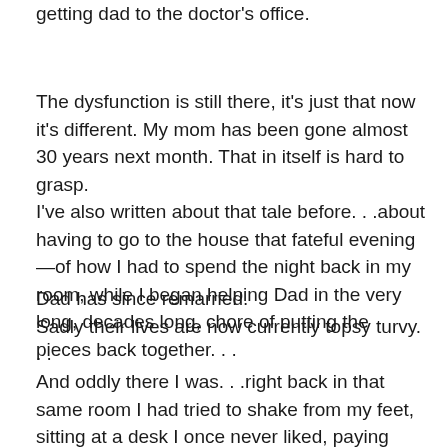This time I had my 20 year old son in law to help me with getting dad to the doctor's office.
The dysfunction is still there, it's just that now it's different. My mom has been gone almost 30 years next month. That in itself is hard to grasp.
I've also written about that tale before. . .about having to go to the house that fateful evening—of how I had to spend the night back in my room, while I began helping Dad in the very long, decades long, chore of putting the pieces back together. . .
Dad has since remarried.
Sadly their lives are now currently topsy turvy. . .
And oddly there I was. . .right back in that same room I had tried to shake from my feet, sitting at a desk I once never liked, paying bills and attempting to manage the